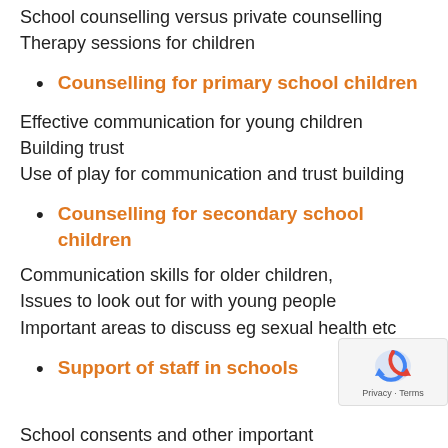School counselling versus private counselling
Therapy sessions for children
Counselling for primary school children
Effective communication for young children
Building trust
Use of play for communication and trust building
Counselling for secondary school children
Communication skills for older children,
Issues to look out for with young people
Important areas to discuss eg sexual health etc
Support of staff in schools
School consents and other important